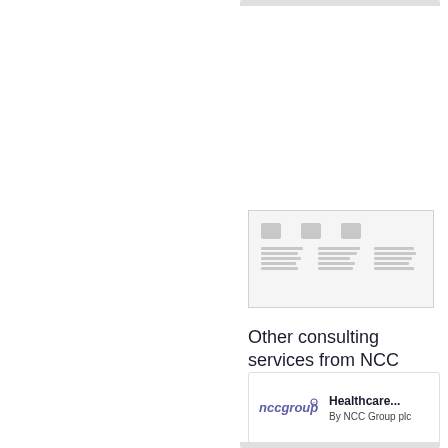[Figure (screenshot): Thumbnail preview of a document page showing three column icons and text content in a grid layout]
Other consulting services from NCC Group plc
[Figure (other): Card showing NCC Group logo with text 'Healthcare...' and 'By NCC Group plc']